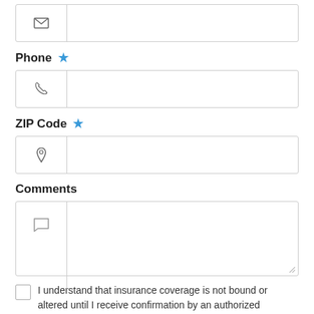[Figure (screenshot): Email input field with envelope icon]
Phone *
[Figure (screenshot): Phone input field with phone icon]
ZIP Code *
[Figure (screenshot): ZIP Code input field with location pin icon]
Comments
[Figure (screenshot): Comments textarea with speech bubble icon]
I understand that insurance coverage is not bound or altered until I receive confirmation by an authorized representative of Partner Agency Insurance Services *
[Figure (screenshot): Submit button with lock icon]
We respect your privacy. Your information will be sent securely and